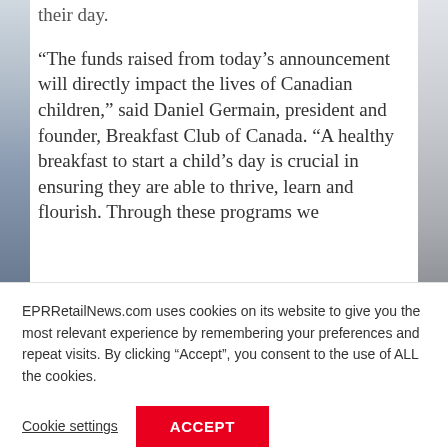their day.
“The funds raised from today’s announcement will directly impact the lives of Canadian children,” said Daniel Germain, president and founder, Breakfast Club of Canada. “A healthy breakfast to start a child’s day is crucial in ensuring they are able to thrive, learn and flourish. Through these programs we
EPRRetailNews.com uses cookies on its website to give you the most relevant experience by remembering your preferences and repeat visits. By clicking “Accept”, you consent to the use of ALL the cookies.
Cookie settings
ACCEPT